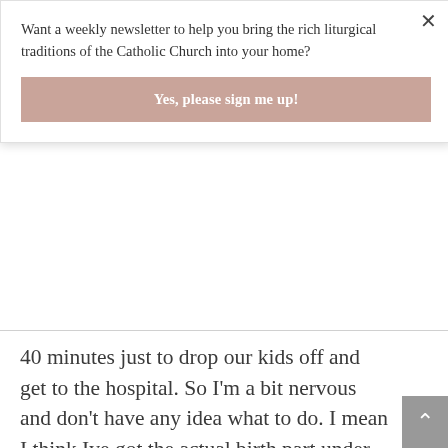Want a weekly newsletter to help you bring the rich liturgical traditions of the Catholic Church into your home?
Yes, please sign me up!
40 minutes just to drop our kids off and get to the hospital. So I'm a bit nervous and don't have any idea what to do. I mean I think Ive got the actual birth part under control but what do you do afterward? Did you drive to the hospital with her in your lap?
Log in to Reply